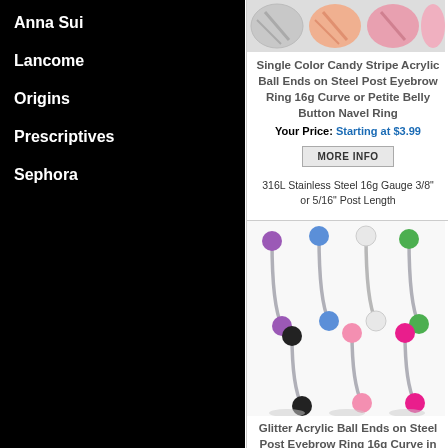Anna Sui
Lancome
Origins
Prescriptives
Sephora
[Figure (photo): Candy stripe acrylic ball ends in various colors (silver, peach, pink) shown as circular swatches]
Single Color Candy Stripe Acrylic Ball Ends on Steel Post Eyebrow Ring 16g Curve or Petite Belly Button Navel Ring
Your Price: Starting at $3.99
MORE INFO
316L Stainless Steel 16g Gauge 3/8" or 5/16" Post Length
[Figure (photo): Glitter acrylic ball ends on steel post eyebrow rings in assorted colors: purple, blue, white, green, black, pink, pink glitter — curved barbell style rings shown in two rows]
Glitter Acrylic Ball Ends on Steel Post Eyebrow Ring 16g Curve in Assorted Post Length